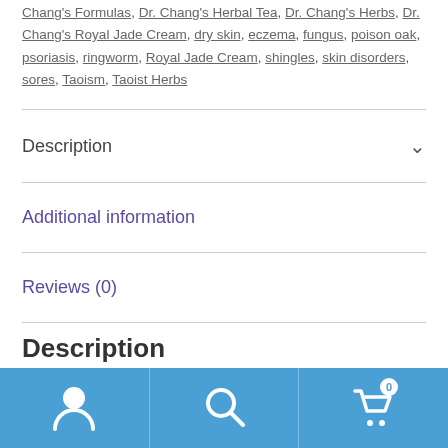Chang's Formulas, Dr. Chang's Herbal Tea, Dr. Chang's Herbs, Dr. Chang's Royal Jade Cream, dry skin, eczema, fungus, poison oak, psoriasis, ringworm, Royal Jade Cream, shingles, skin disorders, sores, Taoism, Taoist Herbs
Description
Additional information
Reviews (0)
Description